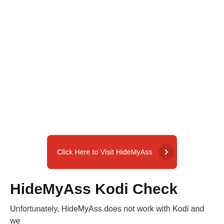[Figure (other): Red button with text 'Click Here to Visit HideMyAss' and a right-arrow chevron in a darker red circle on the right]
HideMyAss Kodi Check
Unfortunately, HideMyAss does not work with Kodi and we